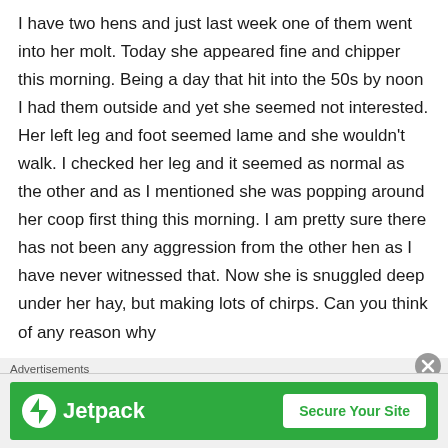I have two hens and just last week one of them went into her molt. Today she appeared fine and chipper this morning. Being a day that hit into the 50s by noon I had them outside and yet she seemed not interested. Her left leg and foot seemed lame and she wouldn't walk. I checked her leg and it seemed as normal as the other and as I mentioned she was popping around her coop first thing this morning. I am pretty sure there has not been any aggression from the other hen as I have never witnessed that. Now she is snuggled deep under her hay, but making lots of chirps. Can you think of any reason why
Advertisements
[Figure (other): Jetpack advertisement banner with green background showing Jetpack logo on the left and a 'Secure Your Site' button on the right]